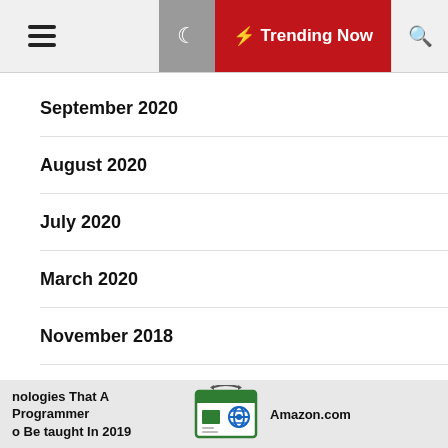☰  Trending Now 🔍
September 2020
August 2020
July 2020
March 2020
November 2018
October 2018
nologies That A Programmer o Be taught In 2019  Amazon.com